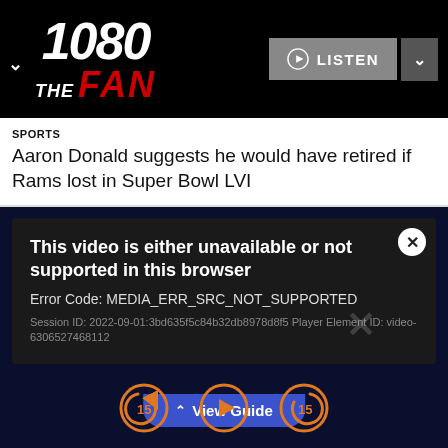[Figure (logo): 1080 The Fan radio station logo with white 1080 text and red FAN text on black background]
SPORTS
Aaron Donald suggests he would have retired if Rams lost in Super Bowl LVI
[Figure (screenshot): Video player error message panel on dark background showing: This video is either unavailable or not supported in this browser. Error Code: MEDIA_ERR_SRC_NOT_SUPPORTED. Session ID: 2022-09-01:3bd635f5c84b32db8978d8f5 Player Element ID: video-6306527468112]
View Guide